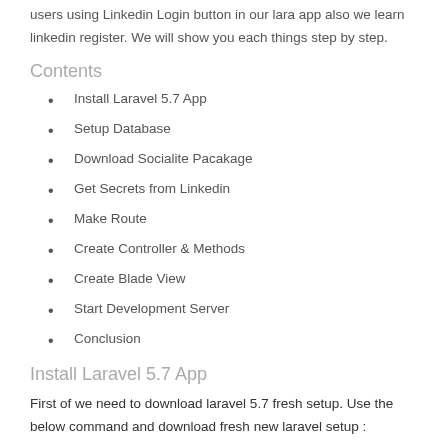users using Linkedin Login button in our lara app also we learn linkedin register. We will show you each things step by step.
Contents
Install Laravel 5.7 App
Setup Database
Download Socialite Pacakage
Get Secrets from Linkedin
Make Route
Create Controller & Methods
Create Blade View
Start Development Server
Conclusion
Install Laravel 5.7 App
First of we need to download laravel 5.7 fresh setup. Use the below command and download fresh new laravel setup :